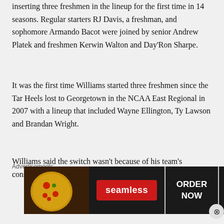inserting three freshmen in the lineup for the first time in 14 seasons. Regular starters RJ Davis, a freshman, and sophomore Armando Bacot were joined by senior Andrew Platek and freshmen Kerwin Walton and Day'Ron Sharpe.
It was the first time Williams started three freshmen since the Tar Heels lost to Georgetown in the NCAA East Regional in 2007 with a lineup that included Wayne Ellington, Ty Lawson and Brandan Wright.
Williams said the switch wasn't because of his team's consistent bad starts but because of the poor defensive grades in the N.C. State loss from Garrison Brooks, Leaky Black and Caleb Love. They all came off
Advertisements
[Figure (other): Seamless food delivery advertisement banner with pizza image on left, Seamless logo in center, and ORDER NOW button on right, dark background]